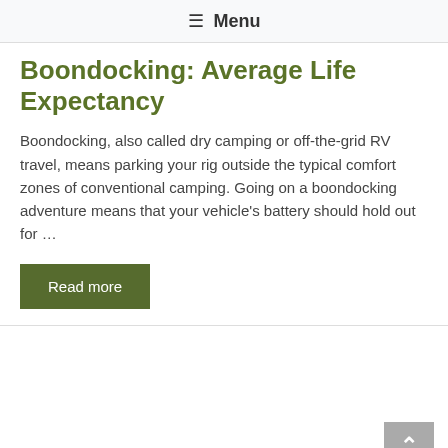☰ Menu
Boondocking: Average Life Expectancy
Boondocking, also called dry camping or off-the-grid RV travel, means parking your rig outside the typical comfort zones of conventional camping. Going on a boondocking adventure means that your vehicle's battery should hold out for …
Read more